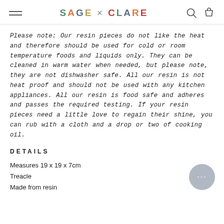SAGE × CLARE
Please note: Our resin pieces do not like the heat and therefore should be used for cold or room temperature foods and liquids only. They can be cleaned in warm water when needed, but please note, they are not dishwasher safe. All our resin is not heat proof and should not be used with any kitchen appliances. All our resin is food safe and adheres and passes the required testing. If your resin pieces need a little love to regain their shine, you can rub with a cloth and a drop or two of cooking oil.
DETAILS
Measures 19 x 19 x 7cm
Treacle
Made from resin